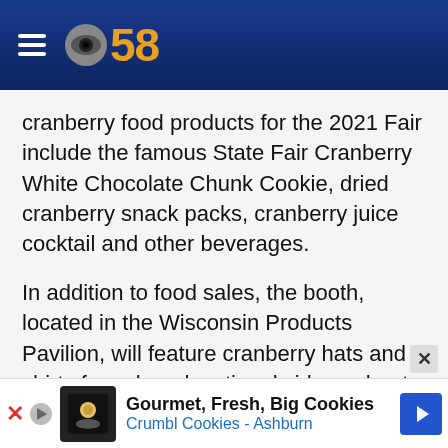[Figure (logo): CBS 58 news logo with hamburger menu icon, CBS eye logo in grey and '58' in gold/yellow on dark navy blue gradient header background]
cranberry food products for the 2021 Fair include the famous State Fair Cranberry White Chocolate Chunk Cookie, dried cranberry snack packs, cranberry juice cocktail and other beverages.
In addition to food sales, the booth, located in the Wisconsin Products Pavilion, will feature cranberry hats and shirts for sale, educational videos about the state's number one fruit crop, a cranberry photo booth and the popular interactive mini-marsh, complete with real vines, an irrigation system and floating fresh cranberries. Ruby the cranberry mascot will also make appearances at the booth daily from
[Figure (screenshot): Advertisement banner: Gourmet, Fresh, Big Cookies - Crumbl Cookies Ashburn with cookie logo icon and blue navigation arrow]